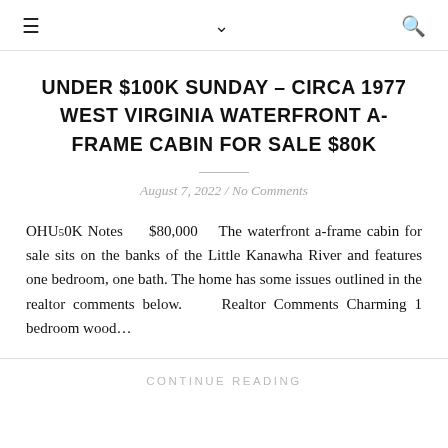≡  ∨  🔍
UNDER $100K SUNDAY – CIRCA 1977 WEST VIRGINIA WATERFRONT A-FRAME CABIN FOR SALE $80K
August 7, 2022 / No Comments
OHU50K Notes    $80,000   The waterfront a-frame cabin for sale sits on the banks of the Little Kanawha River and features one bedroom, one bath. The home has some issues outlined in the realtor comments below.    Realtor Comments Charming 1 bedroom wood…
CONTINUE READING